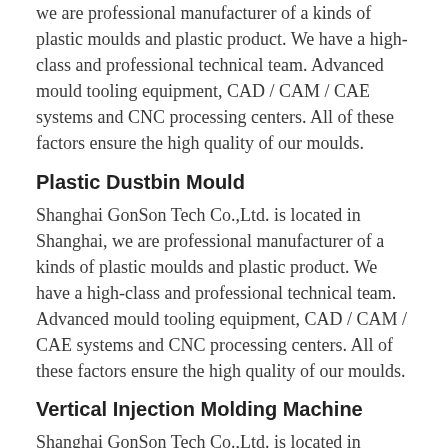we are professional manufacturer of a kinds of plastic moulds and plastic product. We have a high-class and professional technical team. Advanced mould tooling equipment, CAD / CAM / CAE systems and CNC processing centers. All of these factors ensure the high quality of our moulds.
Plastic Dustbin Mould
Shanghai GonSon Tech Co.,Ltd. is located in Shanghai, we are professional manufacturer of a kinds of plastic moulds and plastic product. We have a high-class and professional technical team. Advanced mould tooling equipment, CAD / CAM / CAE systems and CNC processing centers. All of these factors ensure the high quality of our moulds.
Vertical Injection Molding Machine
Shanghai GonSon Tech Co.,Ltd. is located in Shanghai,